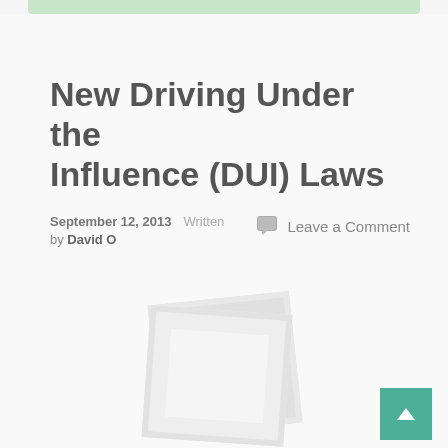New Driving Under the Influence (DUI) Laws
September 12, 2013    Written by David O
Leave a Comment
[Figure (photo): Stacked photo/document placeholder image (grey overlapping rectangles)]